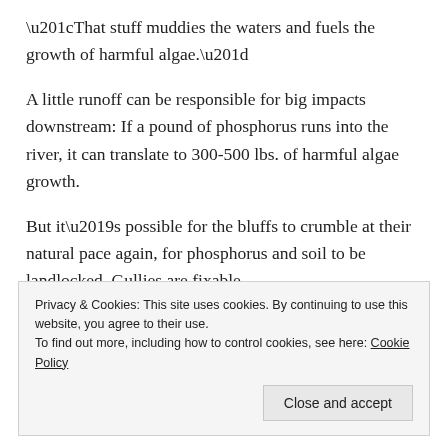“That stuff muddies the waters and fuels the growth of harmful algae.”
A little runoff can be responsible for big impacts downstream: If a pound of phosphorus runs into the river, it can translate to 300-500 lbs. of harmful algae growth.
But it’s possible for the bluffs to crumble at their natural pace again, for phosphorus and soil to be landlocked. Gullies are fixable.
Privacy & Cookies: This site uses cookies. By continuing to use this website, you agree to their use.
To find out more, including how to control cookies, see here: Cookie Policy